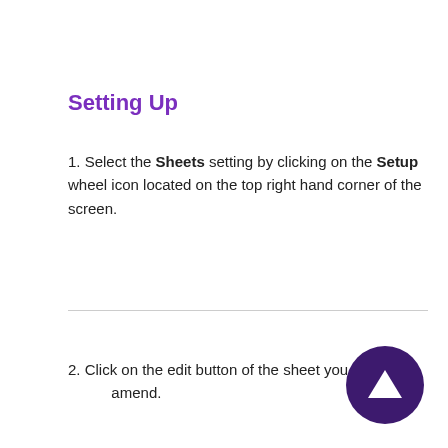Setting Up
1. Select the Sheets setting by clicking on the Setup wheel icon located on the top right hand corner of the screen.
2. Click on the edit button of the sheet you would amend.
[Figure (illustration): Purple circular scroll-to-top button with a white upward-pointing triangle/arrow in the bottom right corner of the page.]